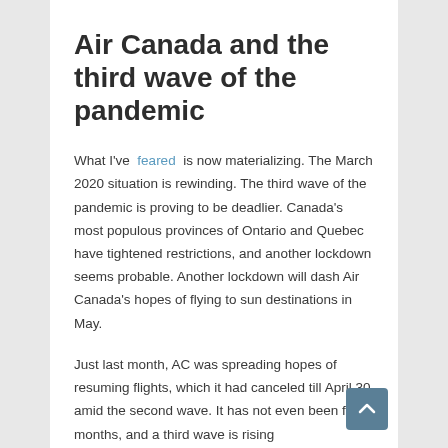Air Canada and the third wave of the pandemic
What I've feared is now materializing. The March 2020 situation is rewinding. The third wave of the pandemic is proving to be deadlier. Canada's most populous provinces of Ontario and Quebec have tightened restrictions, and another lockdown seems probable. Another lockdown will dash Air Canada's hopes of flying to sun destinations in May.
Just last month, AC was spreading hopes of resuming flights, which it had canceled till April 30 amid the second wave. It has not even been four months, and a third wave is rising